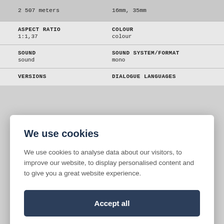2 507 meters	16mm, 35mm
ASPECT RATIO
1:1,37
COLOUR
colour
SOUND
sound
SOUND SYSTEM/FORMAT
mono
VERSIONS
DIALOGUE LANGUAGES
We use cookies
We use cookies to analyse data about our visitors, to improve our website, to display personalised content and to give you a great website experience.
Accept all
Preferences